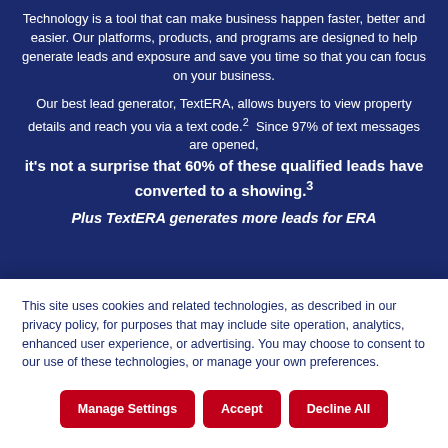Technology is a tool that can make business happen faster, better and easier. Our platforms, products, and programs are designed to help generate leads and exposure and save you time so that you can focus on your business.
Our best lead generator, TextERA, allows buyers to view property details and reach you via a text code.2  Since 97% of text messages are opened, it's not a surprise that 60% of these qualified leads have converted to a showing.3
Plus TextERA generates more leads for ERA
This site uses cookies and related technologies, as described in our privacy policy, for purposes that may include site operation, analytics, enhanced user experience, or advertising. You may choose to consent to our use of these technologies, or manage your own preferences.